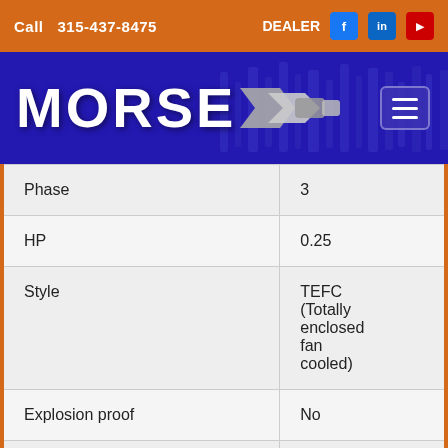Call 315-437-8475   DEALER
[Figure (logo): Morse Industrial logo with brand name MORSE in white bold text on dark blue background with mechanical coupling imagery]
| Property | Value |
| --- | --- |
| Phase | 3 |
| HP | 0.25 |
| Style | TEFC (Totally enclosed fan cooled) |
| Explosion proof | No |
| Frequency | 60Hz |